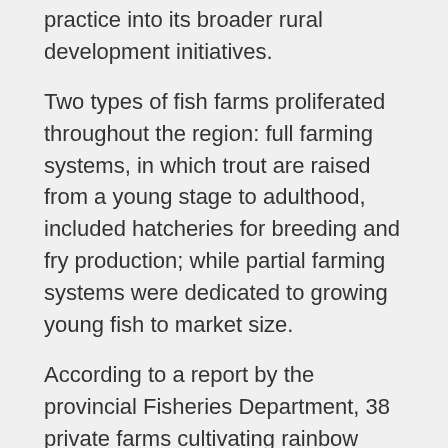practice into its broader rural development initiatives.
Two types of fish farms proliferated throughout the region: full farming systems, in which trout are raised from a young stage to adulthood, included hatcheries for breeding and fry production; while partial farming systems were dedicated to growing young fish to market size.
According to a report by the provincial Fisheries Department, 38 private farms cultivating rainbow trout in KP produced 162 tonnes per year.
Prior to 2007, revenue from the sale of market-sized fish in Swat was an estimated 2.1 million dollars annually.
A business census of the private trout farms in Swat in early 2010 found that, by 2006, just before the escalation of extremist militancy, annual farmed production of